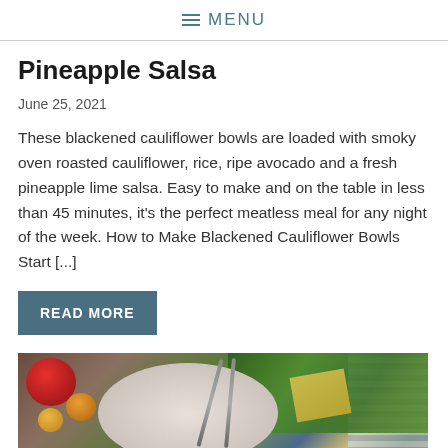MENU
Pineapple Salsa
June 25, 2021
These blackened cauliflower bowls are loaded with smoky oven roasted cauliflower, rice, ripe avocado and a fresh pineapple lime salsa. Easy to make and on the table in less than 45 minutes, it's the perfect meatless meal for any night of the week. How to Make Blackened Cauliflower Bowls Start [...]
READ MORE
[Figure (photo): Food photo showing a bowl with greens, cheese slices, and tomatoes on a wooden surface with a checkered cloth]